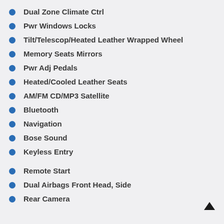Dual Zone Climate Ctrl
Pwr Windows Locks
Tilt/Telescop/Heated Leather Wrapped Wheel
Memory Seats Mirrors
Pwr Adj Pedals
Heated/Cooled Leather Seats
AM/FM CD/MP3 Satellite
Bluetooth
Navigation
Bose Sound
Keyless Entry
Remote Start
Dual Airbags Front Head, Side
Rear Camera